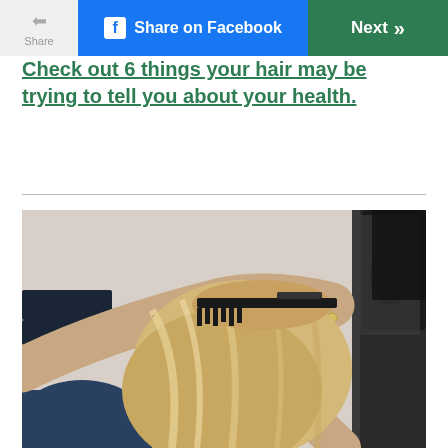Share | Share on Facebook | Next
Check out 6 things your hair may be trying to tell you about your health.
[Figure (photo): A hairdresser working on a blonde woman's hair in a salon, using a comb/styling tool. The stylist's hands are visible along with a black bracelet and ring.]